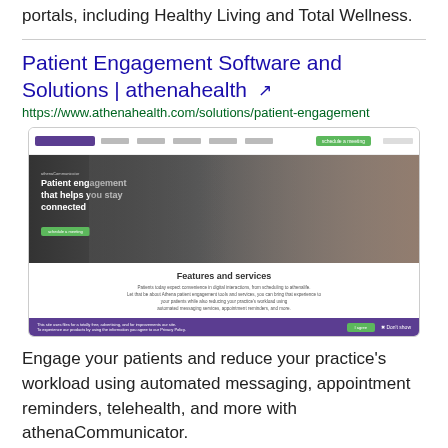portals, including Healthy Living and Total Wellness.
Patient Engagement Software and Solutions | athenahealth
https://www.athenahealth.com/solutions/patient-engagement
[Figure (screenshot): Screenshot of the athenahealth Patient Engagement page showing a hero image with two men looking at a laptop, headline 'Patient engagement that helps you stay connected', a Features and services section, and a cookie consent bar.]
Engage your patients and reduce your practice's workload using automated messaging, appointment reminders, telehealth, and more with athenaCommunicator.